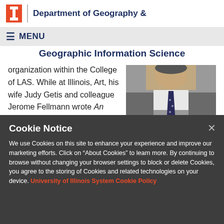Department of Geography &
MENU
Geographic Information Science
organization within the College of LAS. While at Illinois, Art, his wife Judy Getis and colleague Jerome Fellmann wrote An Introduction to Geography that is now in its thirteenth edition. He left in 1990 to lead a new PhD program at San Diego State University.
[Figure (photo): Black and white photo of a man in a suit and tie]
Cookie Notice
We use Cookies on this site to enhance your experience and improve our marketing efforts. Click on “About Cookies” to learn more. By continuing to browse without changing your browser settings to block or delete Cookies, you agree to the storing of Cookies and related technologies on your device. University of Illinois System Cookie Policy